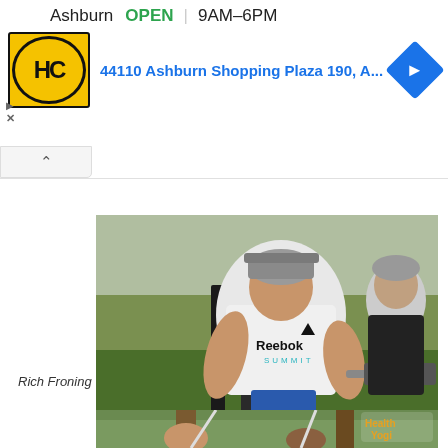[Figure (screenshot): Ad banner for HC (Health Club) with logo, Ashburn location showing OPEN 9AM-6PM, address 44110 Ashburn Shopping Plaza 190, A..., and a blue navigation diamond button]
[Figure (photo): Man wearing white Reebok Summit t-shirt and backwards cap, outdoors on a green turf field, holding a barbell. Another man in black shirt visible on the right.]
Rich Froning
[Figure (photo): Two people outdoors doing suspension/TRX training, with a Health Yogi watermark logo visible in the top right corner.]